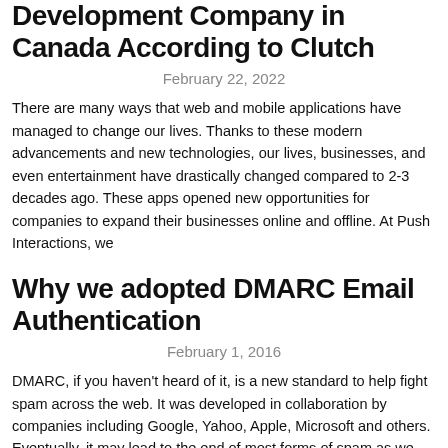Development Company in Canada According to Clutch
February 22, 2022
There are many ways that web and mobile applications have managed to change our lives. Thanks to these modern advancements and new technologies, our lives, businesses, and even entertainment have drastically changed compared to 2-3 decades ago. These apps opened new opportunities for companies to expand their businesses online and offline. At Push Interactions, we
Why we adopted DMARC Email Authentication
February 1, 2016
DMARC, if you haven’t heard of it, is a new standard to help fight spam across the web. It was developed in collaboration by companies including Google, Yahoo, Apple, Microsoft and others. Eventually, it may lead to the end of most forms of spam as we currently know it. The protocol used to send emails